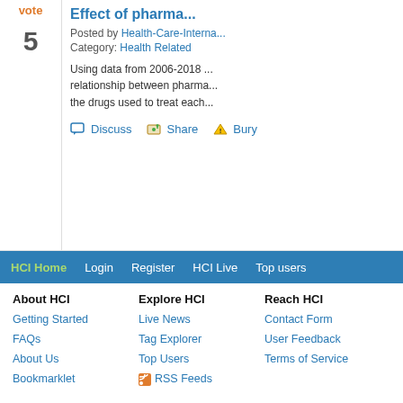vote
5
Effect of pharma...
Posted by Health-Care-Interna...
Category: Health Related
Using data from 2006-2018 ... relationship between pharma... the drugs used to treat each...
Discuss  Share  Bury
[Figure (screenshot): Ad banner with stethoscope and globe image, text reading 'Inte... & H...']
HCI Home  Login  Register  HCI Live  Top users
About HCI
Getting Started
FAQs
About Us
Bookmarklet
Explore HCI
Live News
Tag Explorer
Top Users
RSS Feeds
Reach HCI
Contact Form
User Feedback
Terms of Service